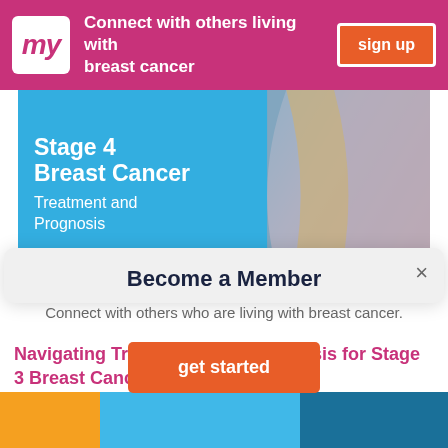Connect with others living with breast cancer  sign up
[Figure (photo): Hero image showing Stage 4 Breast Cancer Treatment and Prognosis with a woman wearing a pink headscarf]
Become a Member
Connect with others who are living with breast cancer.
get started
Navigating Treatments and Prognosis for Stage 3 Breast Cancer
[Figure (photo): Bottom banner image with teal/orange gradient colors]